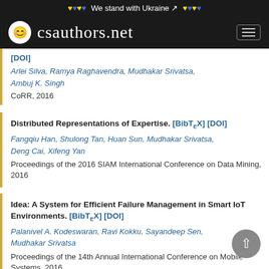❤ ♥ ❤ ♥ We stand with Ukraine [external] ❤ ♥ ❤ ♥
csauthors.net
[DOI]
Arlei Silva, Ramya Raghavendra, Mudhakar Srivatsa, Ambuj K. Singh
CoRR, 2016
Distributed Representations of Expertise. [BibTeX] [DOI]
Fangqiu Han, Shulong Tan, Huan Sun, Mudhakar Srivatsa, Deng Cai, Xifeng Yan
Proceedings of the 2016 SIAM International Conference on Data Mining, 2016
Idea: A System for Efficient Failure Management in Smart IoT Environments. [BibTeX] [DOI]
Palanivel A. Kodeswaran, Ravi Kokku, Sayandeep Sen, Mudhakar Srivatsa
Proceedings of the 14th Annual International Conference on Mobile Systems, 2016